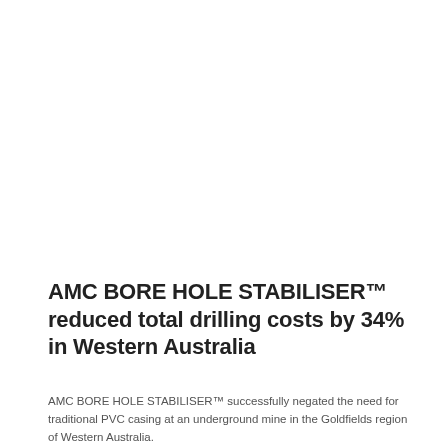AMC BORE HOLE STABILISER™ reduced total drilling costs by 34% in Western Australia
AMC BORE HOLE STABILISER™ successfully negated the need for traditional PVC casing at an underground mine in the Goldfields region of Western Australia.